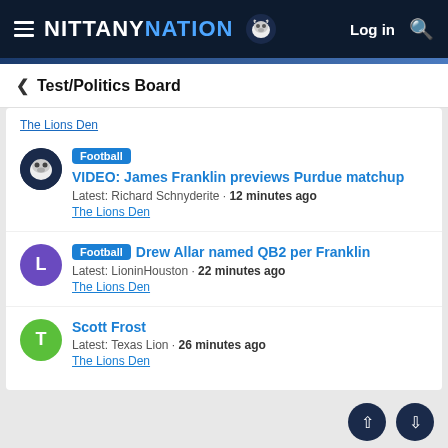NITTANY NATION — Log in
< Test/Politics Board
Football | VIDEO: James Franklin previews Purdue matchup | Latest: Richard Schnyderite · 12 minutes ago | The Lions Den
Football | Drew Allar named QB2 per Franklin | Latest: LioninHouston · 22 minutes ago | The Lions Den
Scott Frost | Latest: Texas Lion · 26 minutes ago | The Lions Den